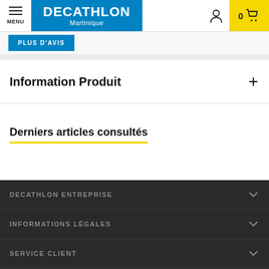DECATHLON Martinique — Menu, user icon, cart (0)
PLUS D'AVIS
Information Produit
Derniers articles consultés
DECATHLON ENTREPRISE
INFORMATIONS LÉGALES
SERVICE CLIENT